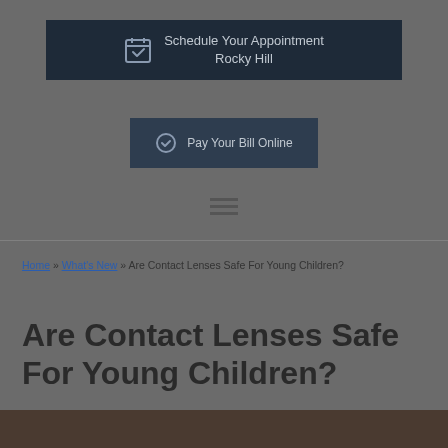[Figure (infographic): Dark navy banner with calendar/checkmark icon and text 'Schedule Your Appointment Rocky Hill']
[Figure (infographic): Dark button with circle checkmark icon and text 'Pay Your Bill Online']
[Figure (other): Hamburger menu icon (three horizontal lines)]
Home » What's New » Are Contact Lenses Safe For Young Children?
Are Contact Lenses Safe For Young Children?
[Figure (photo): Partial photo visible at bottom of page]